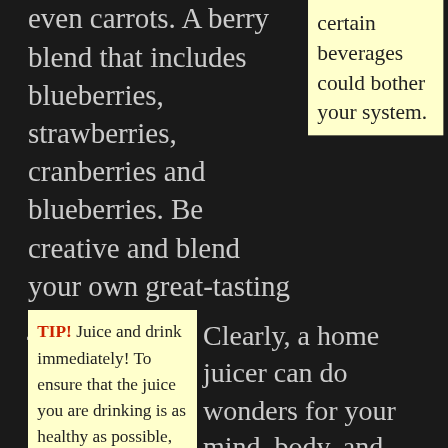even carrots. A berry blend that includes blueberries, strawberries, cranberries and blueberries. Be creative and blend your own great-tasting juices.
certain beverages could bother your system.
TIP! Juice and drink immediately! To ensure that the juice you are drinking is as healthy as possible, you should understand that the longer juice sits there, the less nutrients are present. If you allow the juice to sit for a few days, you will not get as many of the beneficial vitamins and
Clearly, a home juicer can do wonders for your mind, body, and especially your palate. If you follow these tips, you will be using your juicer like a pro in no time at all and you will get the most from your money this way.